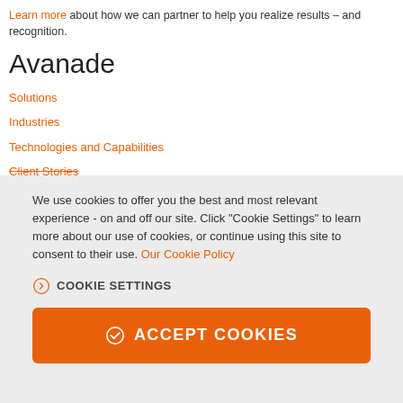Learn more about how we can partner to help you realize results – and recognition.
Avanade
Solutions
Industries
Technologies and Capabilities
Client Stories
We use cookies to offer you the best and most relevant experience - on and off our site. Click "Cookie Settings" to learn more about our use of cookies, or continue using this site to consent to their use. Our Cookie Policy
COOKIE SETTINGS
ACCEPT COOKIES